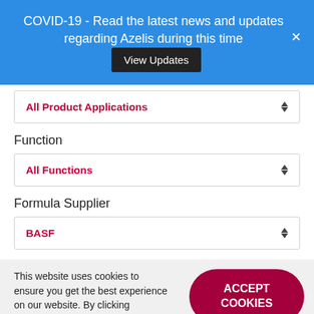COVID-19 - Read the latest news and updates regarding Azelis during this time  View Updates
All Product Applications
Function
All Functions
Formula Supplier
BASF
This website uses cookies to ensure you get the best experience on our website. By clicking anywhere on
ACCEPT COOKIES
Leave a message